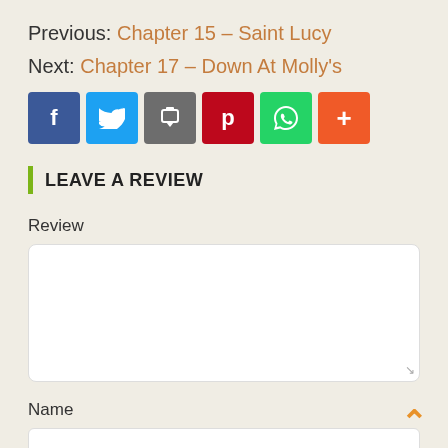Previous: Chapter 15 – Saint Lucy
Next: Chapter 17 – Down At Molly's
[Figure (infographic): Row of six social sharing buttons: Facebook (blue), Twitter (light blue), Google/share (gray), Pinterest (red), WhatsApp (green), More/plus (orange-red)]
LEAVE A REVIEW
Review
[Figure (other): Empty white textarea input box for writing a review]
Name
[Figure (other): Empty white text input box for name, with orange chevron scroll-to-top button in bottom right corner]